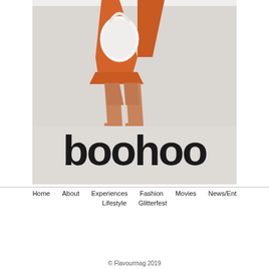[Figure (photo): Fashion model wearing orange mini dress and white heeled sandals, carrying a white shoulder bag. Lower half of body visible from waist down. Background is light grey. Boohoo brand logo displayed in large bold black text at the bottom of the image.]
Home   About   Experiences   Fashion   Movies   News/Ent   Lifestyle   Glitterfest
© Flavourmag 2019